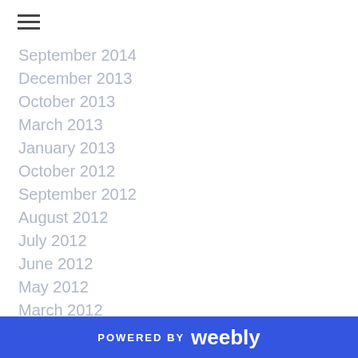[Figure (other): Hamburger menu icon (three horizontal lines)]
September 2014
December 2013
October 2013
March 2013
January 2013
October 2012
September 2012
August 2012
July 2012
June 2012
May 2012
March 2012
February 2012
January 2012
December 2011
November 2011
POWERED BY weebly